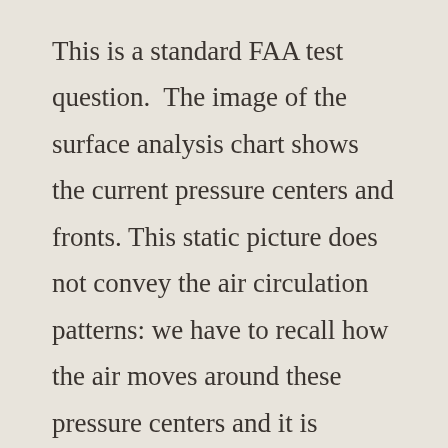This is a standard FAA test question. The image of the surface analysis chart shows the current pressure centers and fronts. This static picture does not convey the air circulation patterns: we have to recall how the air moves around these pressure centers and it is difficult to see how the air moves along the frontal boundaries.
However, a moving image will quickly move yours student's learning from rote level to correlation. This is beautifully